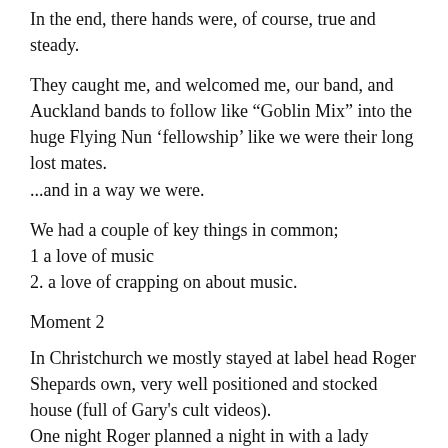In the end, there hands were, of course, true and steady.
They caught me, and welcomed me, our band, and Auckland bands to follow like “Goblin Mix” into the huge Flying Nun ‘fellowship’ like we were their long lost mates.
...and in a way we were.
We had a couple of key things in common;
1 a love of music
2. a love of crapping on about music.
Moment 2
In Christchurch we mostly stayed at label head Roger Shepards own, very well positioned and stocked house (full of Gary’s cult videos).
One night Roger planned a night in with a lady friend.
The wine. Chilled.
The ambience. . well.. ambient.
In the VCR (for younger readers this was an ancient device used to watch movies on) the film “du jour” for the discerning hipster – Wim Wendering his